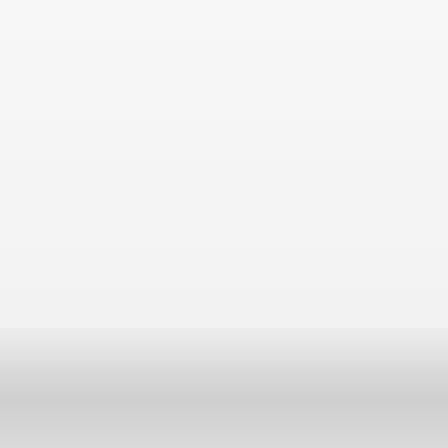[Figure (photo): Mostly blank/white page with a subtle light gray gradient background and a slightly darker gray horizontal band at the bottom portion of the page, suggesting a surface or table edge in very low contrast.]